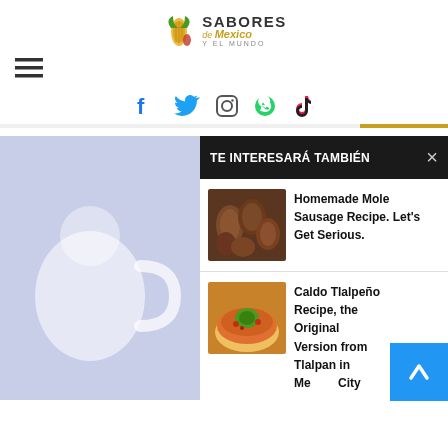[Figure (logo): Sabores de Mexico y el Mundo logo with corn icon and stylized text]
[Figure (infographic): Hamburger menu icon (three horizontal lines)]
[Figure (infographic): Social media icons: Facebook, Twitter, Instagram, WhatsApp, TikTok]
[Figure (photo): Light blue/lavender background with partial view of a white teapot or cup]
TE INTERESARÁ TAMBIÉN
[Figure (photo): Thumbnail of homemade mole sausage - dark brown meatballs/sausages]
Homemade Mole Sausage Recipe. Let's Get Serious.
[Figure (photo): Thumbnail of Caldo Tlalpeño - soup bowl with garnishes]
Caldo Tlalpeño Recipe, the Original Version from Tlalpan in Mexico City